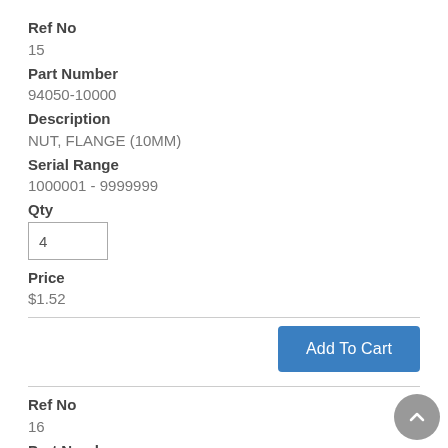Ref No
15
Part Number
94050-10000
Description
NUT, FLANGE (10MM)
Serial Range
1000001 - 9999999
Qty
4
Price
$1.52
Add To Cart
Ref No
16
Part Number
95701-06010-00
Description